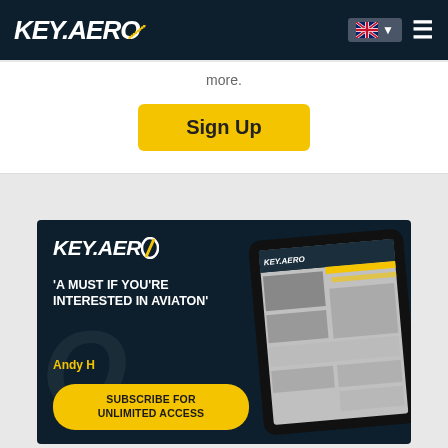KEY.AERO
more.
Sign Up
[Figure (illustration): KEY.AERO advertisement banner with dark navy background showing logo, quote 'A MUST IF YOU'RE INTERESTED IN AVIATON' by Andy H, tablet device mockup, and Subscribe for Unlimited Access button]